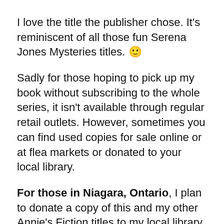I love the title the publisher chose. It's reminiscent of all those fun Serena Jones Mysteries titles. 🙂
Sadly for those hoping to pick up my book without subscribing to the whole series, it isn't available through regular retail outlets. However, sometimes you can find used copies for sale online or at flea markets or donated to your local library.
For those in Niagara, Ontario, I plan to donate a copy of this and my other Annie's Fiction titles to my local library, which once it's catalogued means it will be available throughout Niagara via interlibrary loan. I'll keep you posted.
Here's the back cover blurb: